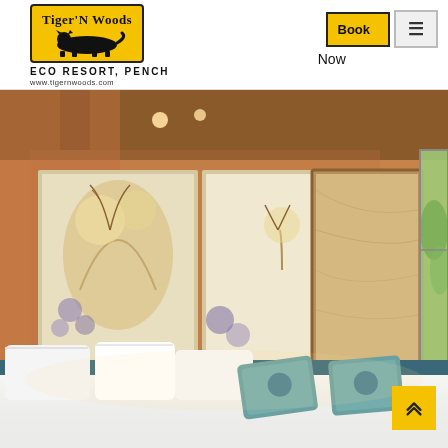[Figure (logo): Tiger'N Woods Eco Resort Pench logo with yellow badge, black tiger silhouette, and website www.tigernwoods.com]
[Figure (other): Navigation buttons: yellow Book button with border, hamburger menu button, and 'Now' text below]
[Figure (photo): Hotel room interior showing a large bed with white pillows and teal decorative cushions, warm orange/amber walls, framed artwork, a glass-panel door leading to bathroom, and green foliage visible through window on right]